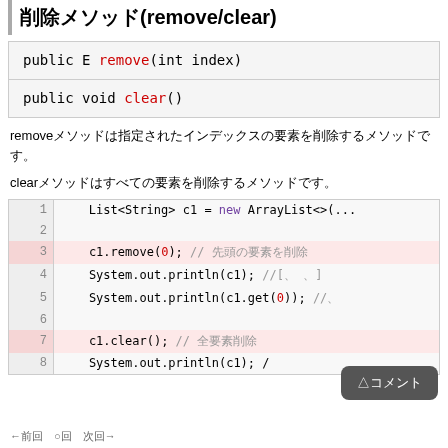削除メソッド(remove/clear)
| public E remove(int index) |
| public void clear() |
removeメソッドは指定されたインデックスの要素を削除するメソッドです。
clearメソッドはすべての要素を削除するメソッドです。
[Figure (screenshot): Code block showing ArrayList remove and clear usage with line numbers 1-8]
←前回　○回　次回→